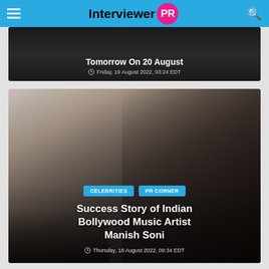Interviewer PR
[Figure (screenshot): Dark themed article card with title 'Tomorrow On 20 August' and date Friday, 19 August 2022, 03:24 EDT]
Tomorrow On 20 August
Friday, 19 August 2022, 03:24 EDT
[Figure (photo): Photo of a shirtless man with tattoos on arms and chest. Article card for Bollywood music artist Manish Soni with category tags CELEBRITIES and PR CORNER]
Success Story of Indian Bollywood Music Artist Manish Soni
Thursday, 18 August 2022, 09:34 EDT